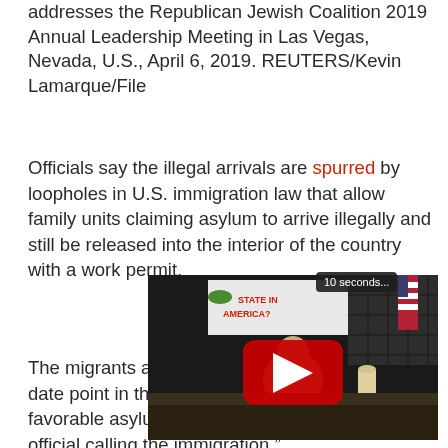addresses the Republican Jewish Coalition 2019 Annual Leadership Meeting in Las Vegas, Nevada, U.S., April 6, 2019. REUTERS/Kevin Lamarque/File
Officials say the illegal arrivals are spurred by loopholes in U.S. immigration law that allow family units claiming asylum to arrive illegally and still be released into the interior of the country with a work permit.
The migrants are then given a court date at some point in the future with the vast majority favorable asylum up for deportation official calling the immigration.”
[Figure (screenshot): A YouTube video embed showing a man at a desk in a studio setting, with a sign reading 'STATE IN AMERICA?' visible in the background. A red YouTube play button is displayed over the video. A small tooltip reads '10 seconds...' in the upper right area of the video.]